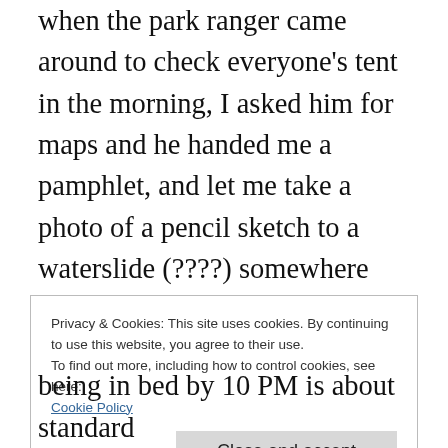when the park ranger came around to check everyone's tent in the morning, I asked him for maps and he handed me a pamphlet, and let me take a photo of a pencil sketch to a waterslide (????) somewhere way up in the canyon. I told him we were looking for someplace to hike today, and he recommended Saddleback Baclesack Sackbaddle Packsaddle Cave. So right away our day was decided: do the trail, all the way to the cave, then find that waterslide!
Privacy & Cookies: This site uses cookies. By continuing to use this website, you agree to their use.
To find out more, including how to control cookies, see here: Cookie Policy
being in bed by 10 PM is about standard